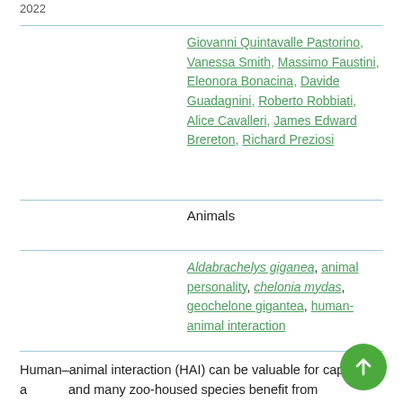Giovanni Quintavalle Pastorino, Vanessa Smith, Massimo Faustini, Eleonora Bonacina, Davide Guadagnini, Roberto Robbiati, Alice Cavalleri, James Edward Brereton, Richard Preziosi
Animals
Aldabrachelys giganea, animal personality, chelonia mydas, geochelone gigantea, human-animal interaction
Human–animal interaction (HAI) can be valuable for captive a... and many zoo-housed species benefit from interactions with t... keepers. There is also an increasing body of evidence that some animal